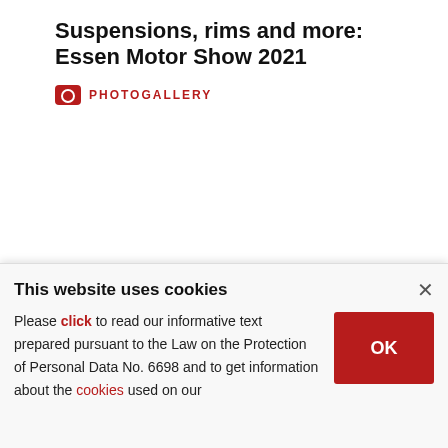Suspensions, rims and more: Essen Motor Show 2021
PHOTOGALLERY
DAILY SABAH
POLITICS   TÜRKİYE   WORLD   BUSINESS
This website uses cookies
Please click to read our informative text prepared pursuant to the Law on the Protection of Personal Data No. 6698 and to get information about the cookies used on our